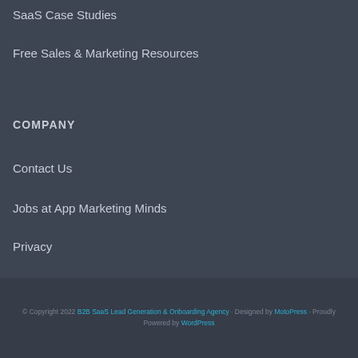SaaS Case Studies
Free Sales & Marketing Resources
COMPANY
Contact Us
Jobs at App Marketing Minds
Privacy
© Copyright 2022 B2B SaaS Lead Generation & Onboarding Agency · Designed by MotoPress · Proudly Powered by WordPress